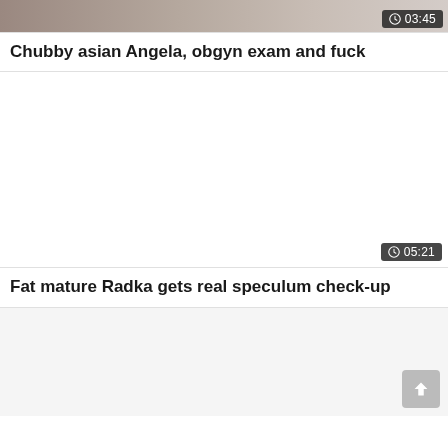[Figure (screenshot): Partial video thumbnail at top of page, with duration badge showing 03:45]
Chubby asian Angela, obgyn exam and fuck
[Figure (screenshot): Video thumbnail placeholder (white/blank area) with duration badge showing 05:21]
Fat mature Radka gets real speculum check-up
[Figure (screenshot): Partial third video card at the bottom, with a scroll-to-top button in the bottom right corner]